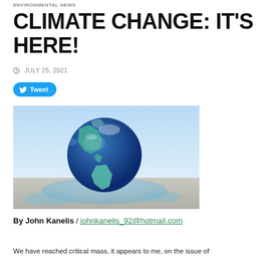ENVIRONMENTAL NEWS
CLIMATE CHANGE: IT'S HERE!
JULY 25, 2021
Tweet
[Figure (photo): A globe of the Earth melting and pooling on a flat surface, with a light blue sky in the background — illustrating climate change.]
By John Kanelis / johnkanelis_92@hotmail.com
We have reached critical mass, it appears to me, on the issue of